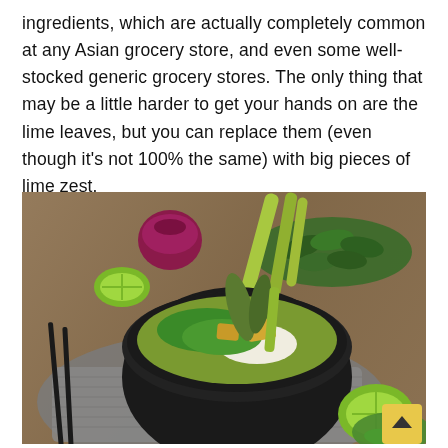ingredients, which are actually completely common at any Asian grocery store, and even some well-stocked generic grocery stores. The only thing that may be a little harder to get your hands on are the lime leaves, but you can replace them (even though it's not 100% the same) with big pieces of lime zest.
[Figure (photo): A black bowl filled with green Thai curry containing tofu, leafy greens, and rice, garnished with large lime leaves and lemongrass stalks. Chopsticks rest beside the bowl on a gray textured cloth. In the background are fresh herbs, a red onion, limes, and lemongrass stalks on a wooden surface. A halved lime sits in the foreground right.]